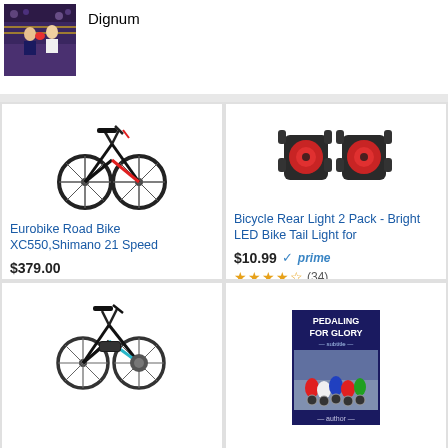[Figure (photo): Boxing match thumbnail showing two boxers in a ring with crowd in background]
Dignum
[Figure (photo): Eurobike road bike XC550, black and red, 21 speed]
Eurobike Road Bike XC550,Shimano 21 Speed
$379.00
★★★★ (319)
[Figure (photo): Bicycle rear tail light 2-pack, red LED lights with black mounts]
Bicycle Rear Light 2 Pack - Bright LED Bike Tail Light for
$10.99 ✓prime
★★★★ (34)
[Figure (photo): Electric mountain bike, black and teal/blue, with battery pack]
[Figure (photo): Book cover: Pedaling for Glory, showing cyclists in a race]